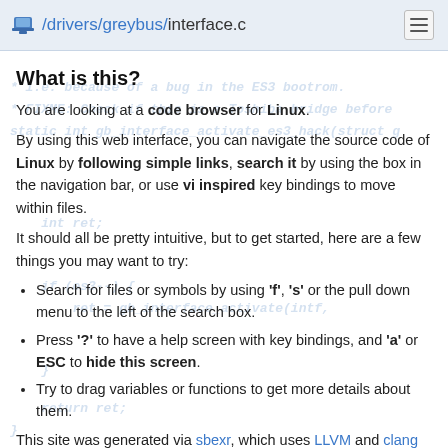/drivers/greybus/interface.c
What is this?
You are looking at a code browser for Linux.
By using this web interface, you can navigate the source code of Linux by following simple links, search it by using the box in the navigation bar, or use vi inspired key bindings to move within files.
It should all be pretty intuitive, but to get started, here are a few things you may want to try:
Search for files or symbols by using 'f', 's' or the pull down menu to the left of the search box.
Press '?' to have a help screen with key bindings, and 'a' or ESC to hide this screen.
Try to drag variables or functions to get more details about them.
This site was generated via sbexr, which uses LLVM and clang to parse and index the code.
sbexr is free software (as in "free speech"), under heavy development, sbexr.abeus.org and the Linux kernel source code